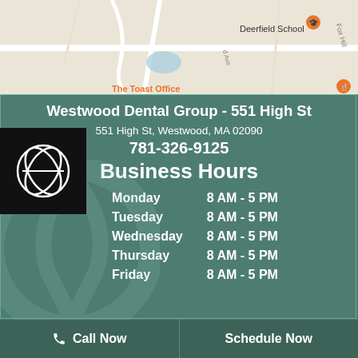[Figure (map): Google Maps screenshot showing area around Westwood Dental Group on High St, with Deerfield School and The Toast Office visible]
Westwood Dental Group - 551 High St
551 High St, Westwood, MA 02090
781-326-9125
Business Hours
| Day | Hours |
| --- | --- |
| Monday | 8 AM - 5 PM |
| Tuesday | 8 AM - 5 PM |
| Wednesday | 8 AM - 5 PM |
| Thursday | 8 AM - 5 PM |
| Friday | 8 AM - 5 PM |
Call Now
Schedule Now